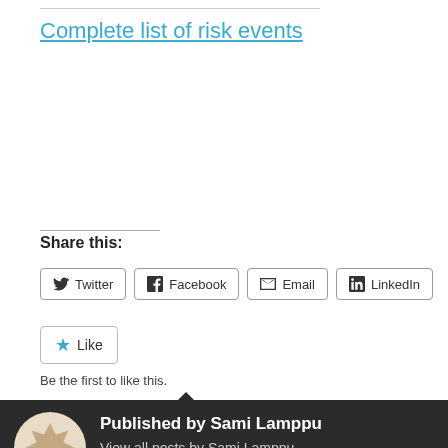Complete list of risk events
Share this:
Twitter  Facebook  Email  LinkedIn
Like
Be the first to like this.
Published by Sami Lamppu
View all posts by Sami Lamppu